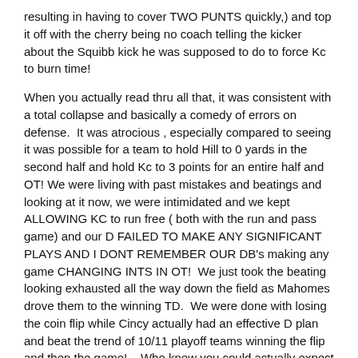resulting in having to cover TWO PUNTS quickly,) and top it off with the cherry being no coach telling the kicker about the Squibb kick he was supposed to do to force Kc to burn time!
When you actually read thru all that, it was consistent with a total collapse and basically a comedy of errors on defense.  It was atrocious , especially compared to seeing it was possible for a team to hold Hill to 0 yards in the second half and hold Kc to 3 points for an entire half and OT! We were living with past mistakes and beatings and looking at it now, we were intimidated and we kept ALLOWING KC to run free ( both with the run and pass game) and our D FAILED TO MAKE ANY SIGNIFICANT PLAYS AND I DONT REMEMBER OUR DB's making any game CHANGING INTS IN OT!  We just took the beating looking exhausted all the way down the field as Mahomes drove them to the winning TD.  We were done with losing the coin flip while Cincy actually had an effective D plan and beat the trend of 10/11 playoff teams winning the flip and then the game!    Who knew you could actually expect your D to make plays against Mahomes and KC!?
We showed up on O , but our D was a huge failure and goes to show all the hoopla about the " stats" and " D rankings", and